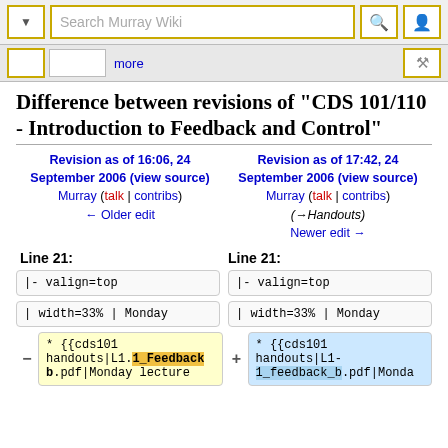[Figure (screenshot): Wikipedia/MediaWiki top navigation bar with search field showing 'Search Murray Wiki', dropdown arrow button, search icon button, and user icon button, all with gold borders]
[Figure (screenshot): Secondary navigation bar with tab buttons, 'more' link, and tools icon]
Difference between revisions of "CDS 101/110 - Introduction to Feedback and Control"
Revision as of 16:06, 24 September 2006 (view source)
Murray (talk | contribs)
← Older edit
Revision as of 17:42, 24 September 2006 (view source)
Murray (talk | contribs)
(→Handouts)
Newer edit →
Line 21:
Line 21:
|- valign=top
|- valign=top
| width=33% | Monday
| width=33% | Monday
* {{cds101 handouts|L1.1_Feedback_b.pdf|Monday lecture
* {{cds101 handouts|L1-1_feedback_b.pdf|Monda